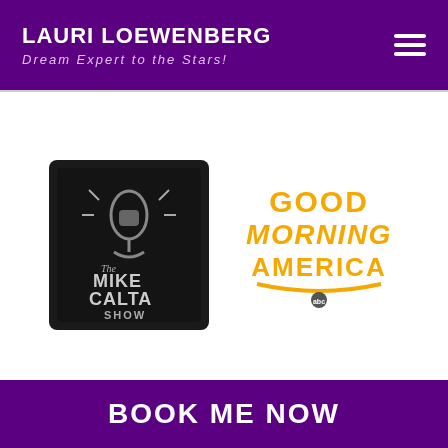LAURI LOEWENBERG
Dream Expert to the Stars!
[Figure (logo): The Mike Calta Show logo — black square background with microphone graphic and text]
[Figure (logo): Good Morning America logo — golden/yellow stylized text with ABC network bug]
BOOK ME NOW